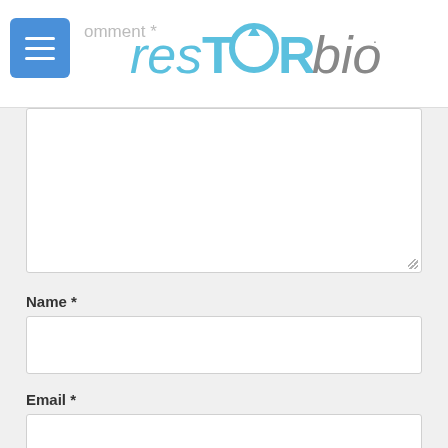resTORbio
Comment *
Name *
Email *
Website